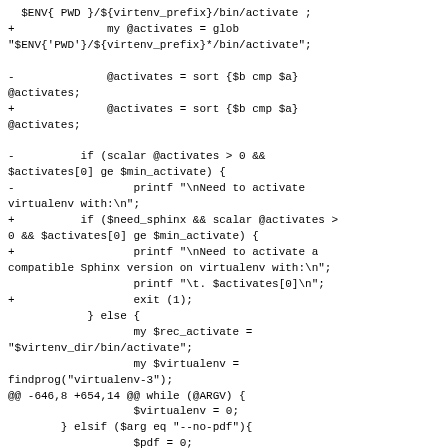Code diff showing changes to a Perl script related to virtualenv activation, sorting activates, sphinx version checking, and argument parsing.